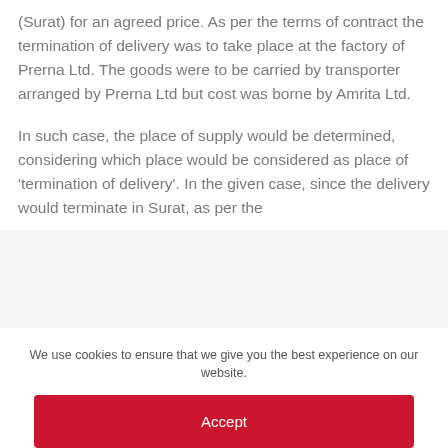(Surat) for an agreed price. As per the terms of contract the termination of delivery was to take place at the factory of Prerna Ltd. The goods were to be carried by transporter arranged by Prerna Ltd but cost was borne by Amrita Ltd.
In such case, the place of supply would be determined, considering which place would be considered as place of 'termination of delivery'. In the given case, since the delivery would terminate in Surat, as per the
We use cookies to ensure that we give you the best experience on our website.
Accept